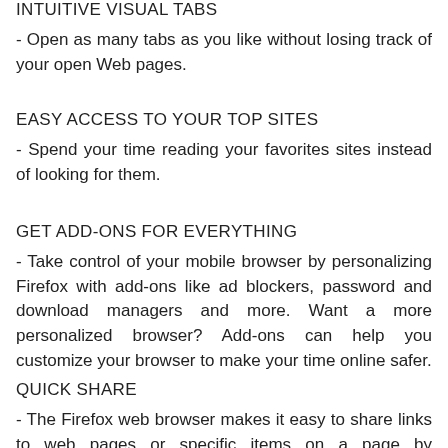INTUITIVE VISUAL TABS
- Open as many tabs as you like without losing track of your open Web pages.
EASY ACCESS TO YOUR TOP SITES
- Spend your time reading your favorites sites instead of looking for them.
GET ADD-ONS FOR EVERYTHING
- Take control of your mobile browser by personalizing Firefox with add-ons like ad blockers, password and download managers and more. Want a more personalized browser? Add-ons can help you customize your browser to make your time online safer.
QUICK SHARE
- The Firefox web browser makes it easy to share links to web pages or specific items on a page by connecting to